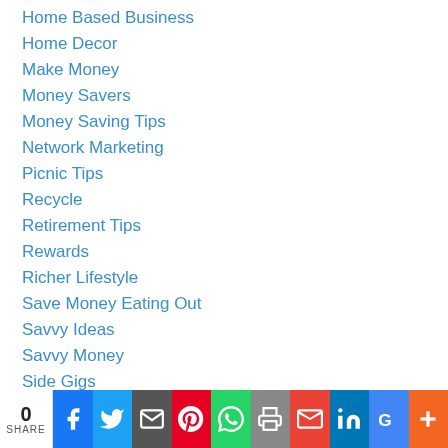Home Based Business
Home Decor
Make Money
Money Savers
Money Saving Tips
Network Marketing
Picnic Tips
Recycle
Retirement Tips
Rewards
Richer Lifestyle
Save Money Eating Out
Savvy Ideas
Savvy Money
Side Gigs
Simplicity
Smart Tips
Spend Less
0 SHARE [social share bar]